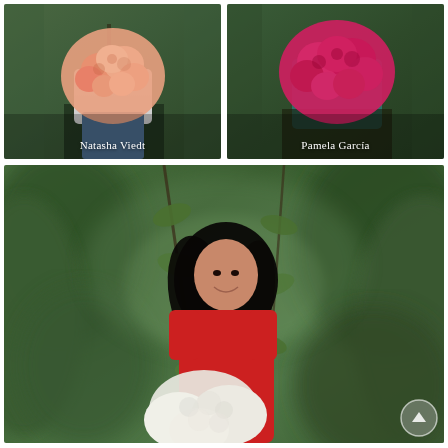[Figure (photo): Person holding a large bouquet of peach/pink garden roses, wearing white top and jeans, green foliage background. Name overlay: Natasha Viedt]
[Figure (photo): Person holding a large bouquet of bright magenta/pink roses, wearing teal green top, green foliage background. Name overlay: Pamela García]
[Figure (photo): Woman with long dark hair wearing a red top, smiling among green rose bushes in a greenhouse, holding white fluffy flowers. Scroll-up button visible bottom right.]